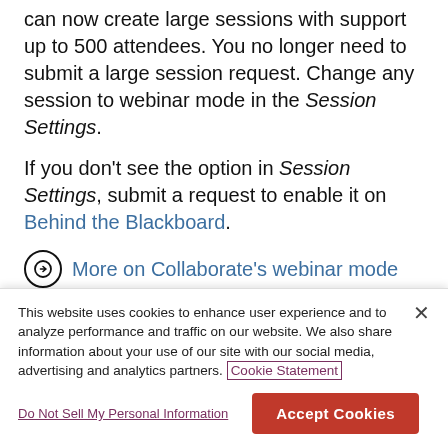can now create large sessions with support up to 500 attendees. You no longer need to submit a large session request. Change any session to webinar mode in the Session Settings.
If you don't see the option in Session Settings, submit a request to enable it on Behind the Blackboard.
More on Collaborate's webinar mode
Large scale session (250+)
This website uses cookies to enhance user experience and to analyze performance and traffic on our website. We also share information about your use of our site with our social media, advertising and analytics partners. Cookie Statement
Do Not Sell My Personal Information
Accept Cookies